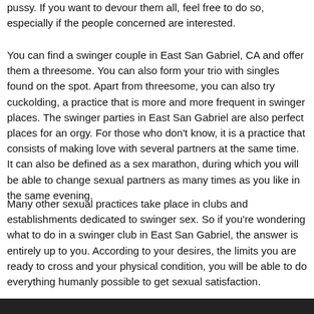pussy. If you want to devour them all, feel free to do so, especially if the people concerned are interested.
You can find a swinger couple in East San Gabriel, CA and offer them a threesome. You can also form your trio with singles found on the spot. Apart from threesome, you can also try cuckolding, a practice that is more and more frequent in swinger places. The swinger parties in East San Gabriel are also perfect places for an orgy. For those who don't know, it is a practice that consists of making love with several partners at the same time. It can also be defined as a sex marathon, during which you will be able to change sexual partners as many times as you like in the same evening.
Many other sexual practices take place in clubs and establishments dedicated to swinger sex. So if you're wondering what to do in a swinger club in East San Gabriel, the answer is entirely up to you. According to your desires, the limits you are ready to cross and your physical condition, you will be able to do everything humanly possible to get sexual satisfaction.